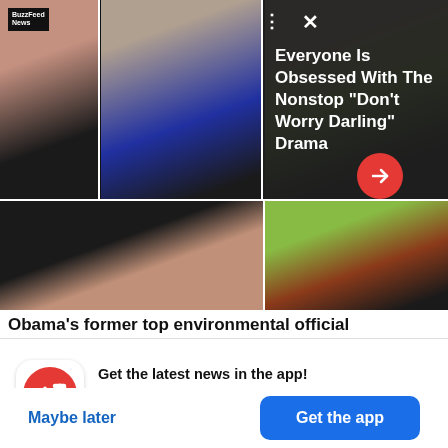[Figure (screenshot): BuzzFeed News app screenshot showing celebrity images (Florence Pugh, Olivia Wilde, Harry Styles) in a grid with overlay headline 'Everyone Is Obsessed With The Nonstop "Don't Worry Darling" Drama']
Obama's former top environmental official
[Figure (logo): BuzzFeed red logo with white trending arrow icon]
Get the latest news in the app! Stay up to date on the most breaking news, all from your BuzzFeed app.
Maybe later
Get the app